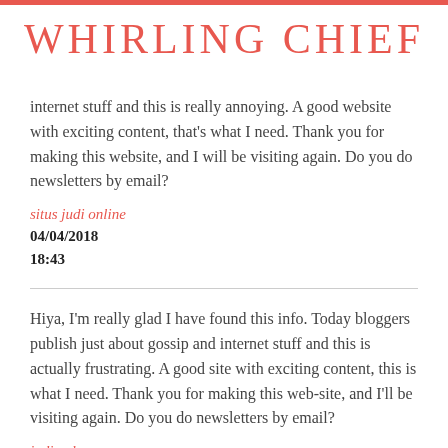WHIRLING CHIEF
internet stuff and this is really annoying. A good website with exciting content, that's what I need. Thank you for making this website, and I will be visiting again. Do you do newsletters by email?
situs judi online
04/04/2018
18:43
Hiya, I'm really glad I have found this info. Today bloggers publish just about gossip and internet stuff and this is actually frustrating. A good site with exciting content, this is what I need. Thank you for making this web-site, and I'll be visiting again. Do you do newsletters by email?
judi poker
04/04/2018
19:22